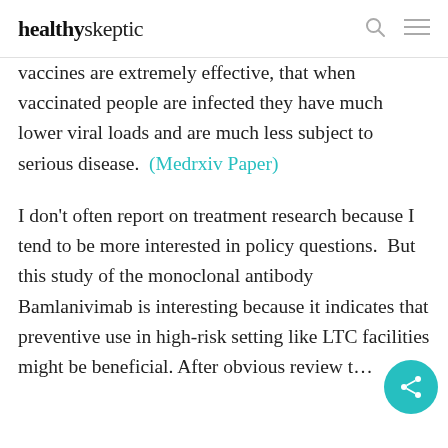healthyskeptic
vaccines are extremely effective, that when vaccinated people are infected they have much lower viral loads and are much less subject to serious disease.  (Medrxiv Paper)
I don’t often report on treatment research because I tend to be more interested in policy questions.  But this study of the monoclonal antibody Bamlanivimab is interesting because it indicates that preventive use in high-risk setting like LTC facilities might be beneficial. After obvious review t...